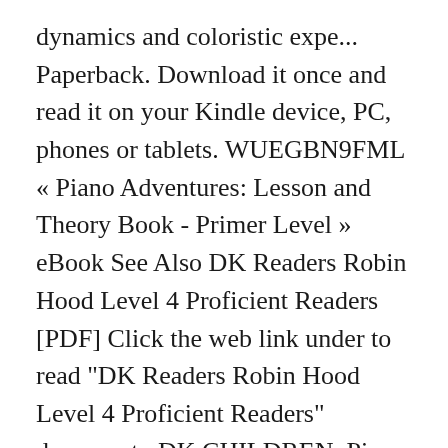dynamics and coloristic expe... Paperback. Download it once and read it on your Kindle device, PC, phones or tablets. WUEGBN9FML « Piano Adventures: Lesson and Theory Book - Primer Level » eBook See Also DK Readers Robin Hood Level 4 Proficient Readers [PDF] Click the web link under to read "DK Readers Robin Hood Level 4 Proficient Readers" document.. DK CHILDREN. Piano Adventures Theory Book, Primer Level is divided into 10 units, correlating with the 10 units of the Lesson Book. Publication Date : 1996-1-1 x 0.4in. cassidyellis. Paperback. Primer Level - Lesson Book: Piano Adventures is one of the best selling books, the writer wrote a powerful